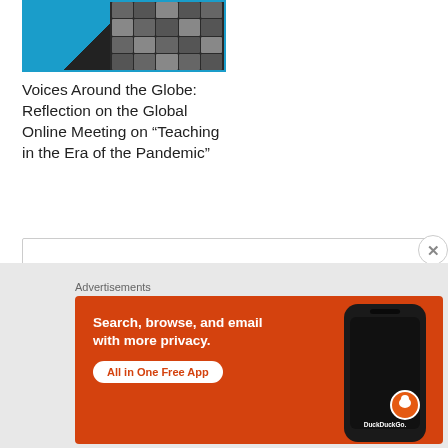[Figure (screenshot): Thumbnail image of a global online meeting showing a split view: left side has a blue infographic panel, right side shows a grid of video call participants on dark background]
Voices Around the Globe: Reflection on the Global Online Meeting on “Teaching in the Era of the Pandemic”
April 15, 2020
In "21st Century Learning"
[Figure (screenshot): DuckDuckGo advertisement banner with orange background showing 'Search, browse, and email with more privacy. All in One Free App' text with a phone mockup and DuckDuckGo logo]
Advertisements